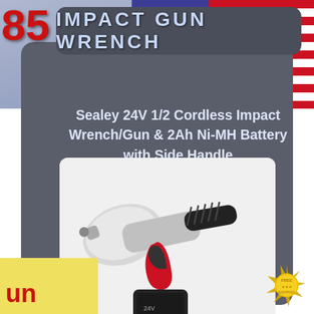IMPACT GUN WRENCH
Sealey 24V 1/2 Cordless Impact Wrench/Gun & 2Ah Ni-MH Battery with Side Handle
[Figure (photo): Cordless impact wrench/gun tool in red and silver with black side handle and battery pack attached, shown on white background]
un